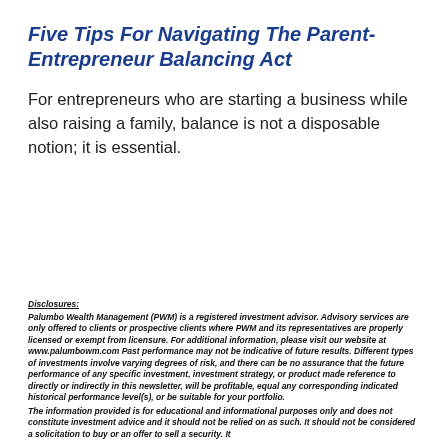Five Tips For Navigating The Parent-Entrepreneur Balancing Act
For entrepreneurs who are starting a business while also raising a family, balance is not a disposable notion; it is essential.
Disclosures: Palumbo Wealth Management (PWM) is a registered investment advisor. Advisory services are only offered to clients or prospective clients where PWM and its representatives are properly licensed or exempt from licensure. For additional information, please visit our website at www.palumbowm.com Past performance may not be indicative of future results. Different types of investments involve varying degrees of risk, and there can be no assurance that the future performance of any specific investment, investment strategy, or product made reference to directly or indirectly in this newsletter, will be profitable, equal any corresponding indicated historical performance level(s), or be suitable for your portfolio. The information provided is for educational and informational purposes only and does not constitute investment advice and it should not be relied on as such. It should not be considered a solicitation to buy or an offer to sell a security. It does not take into account any investor's particular investment objectives, strategies, tax status or investment horizon.